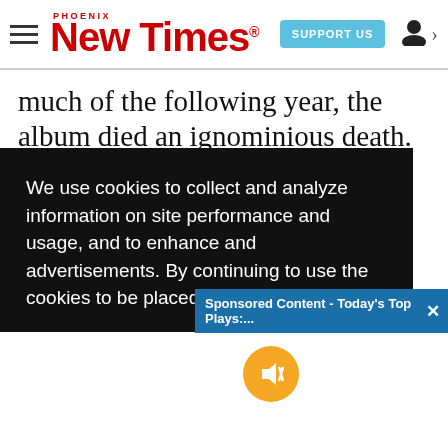Phoenix New Times | SUPPORT US
much of the following year, the album died an ignominious death. The group severed its ties
We use cookies to collect and analyze information on site performance and usage, and to enhance and advertisements. By continuing to use the cookies to be placed our cookies policy a
Sponsored Content - Today's Top Plays:...
Got it!
ming rative
opportunities. Babb, in particular, took